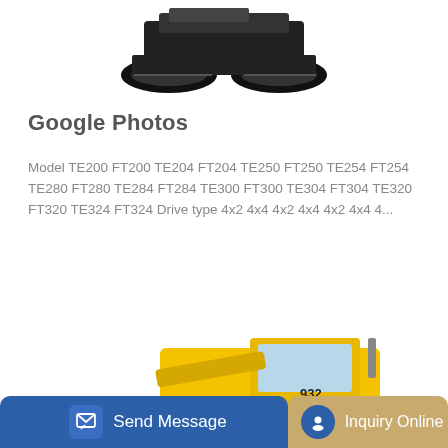[Figure (photo): Construction machine / tracked vehicle viewed from above, black tracks visible, top portion of machine shown]
Google Photos
Model TE200 FT200 TE204 FT204 TE250 FT250 TE254 FT254 TE280 FT280 TE284 FT284 TE300 FT300 TE304 FT304 TE320 FT320 TE324 FT324 Drive type 4x2 4x4 4x2 4x4 4x2 4x4 4...
Learn More
[Figure (photo): Yellow wheel loader / construction machine (model 932) with LINGLIN branding, viewed from the side-front angle]
Send Message
Inquiry Online